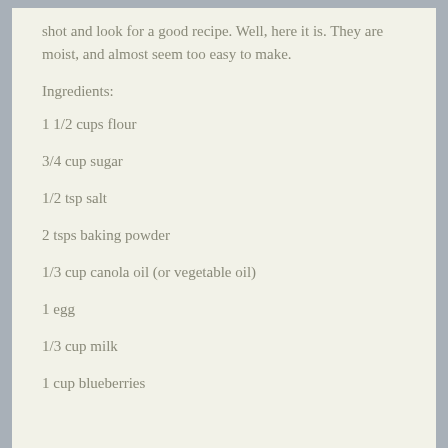shot and look for a good recipe. Well, here it is. They are moist, and almost seem too easy to make.
Ingredients:
1 1/2 cups flour
3/4 cup sugar
1/2 tsp salt
2 tsps baking powder
1/3 cup canola oil (or vegetable oil)
1 egg
1/3 cup milk
1 cup blueberries